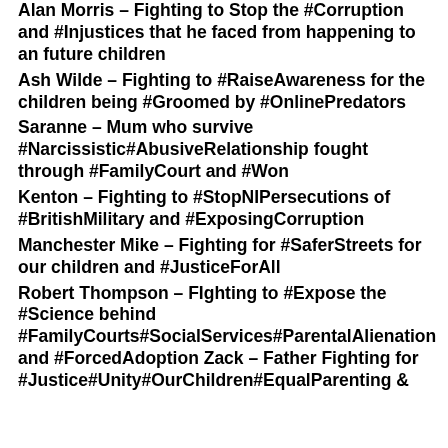Alan Morris – Fighting to Stop the #Corruption and #Injustices that he faced from happening to an future children
Ash Wilde – Fighting to #RaiseAwareness for the children being #Groomed by #OnlinePredators
Saranne – Mum who survive #Narcissistic#AbusiveRelationship fought through #FamilyCourt and #Won
Kenton – Fighting to #StopNIPersecutions of #BritishMilitary and #ExposingCorruption
Manchester Mike – Fighting for #SaferStreets for our children and #JusticeForAll
Robert Thompson – FIghting to #Expose the #Science behind #FamilyCourts#SocialServices#ParentalAlienation and #ForcedAdoption Zack – Father Fighting for #Justice#Unity#OurChildren#EqualParenting &